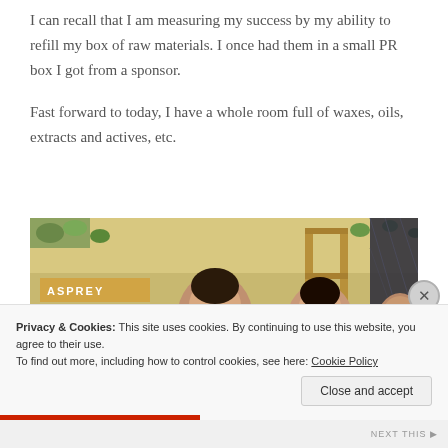I can recall that I am measuring my success by my ability to refill my box of raw materials. I once had them in a small PR box I got from a sponsor.
Fast forward to today, I have a whole room full of waxes, oils, extracts and actives, etc.
[Figure (photo): Photo of people at what appears to be a market or trade show booth, with an 'ASPREY' branded sign visible in the foreground, plants in background, and two individuals visible.]
Privacy & Cookies: This site uses cookies. By continuing to use this website, you agree to their use.
To find out more, including how to control cookies, see here: Cookie Policy
Close and accept